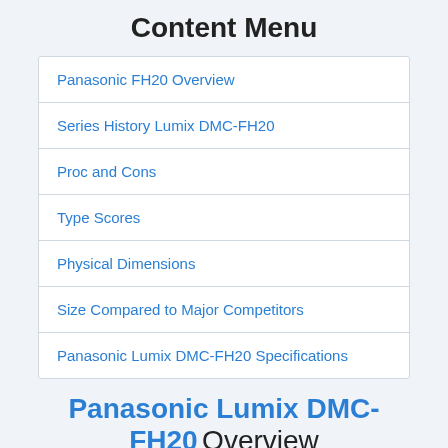Content Menu
Panasonic FH20 Overview
Series History Lumix DMC-FH20
Proc and Cons
Type Scores
Physical Dimensions
Size Compared to Major Competitors
Panasonic Lumix DMC-FH20 Specifications
Panasonic Lumix DMC-FH20 Overview